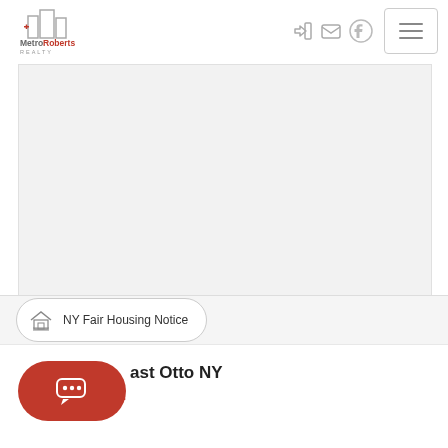[Figure (logo): MetroRoberts Realty logo — building silhouette icon with red cross, text 'MetroRoberts REALTY' in gray and red]
[Figure (screenshot): Main content area — large white/light gray box occupying most of the page, representing a property image placeholder]
NY Fair Housing Notice
ast Otto NY
East Ott...